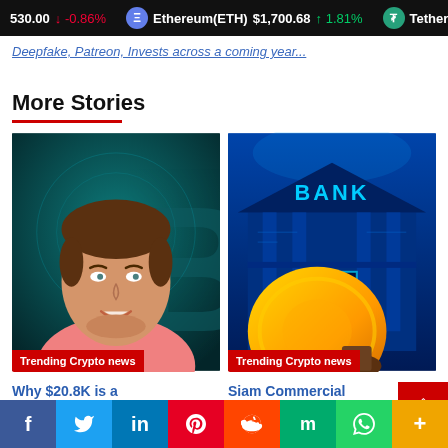530.00 ↓ -0.86% Ethereum(ETH) $1,700.68 ↑ 1.81% Tether
Deepfake, Patreon, Invests across a coming year...
More Stories
[Figure (photo): Illustrated portrait of a man in pink shirt with Bitcoin symbol background, captioned Trending Crypto news]
[Figure (photo): Illustrated image of a glowing BANK building with a golden coin, captioned Trending Crypto news]
Why $20.8K is a
Siam Commercial
Facebook Twitter LinkedIn Pinterest Reddit Mix WhatsApp More